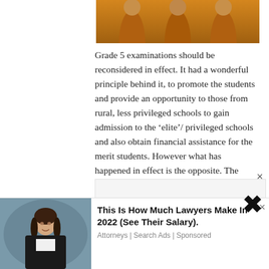[Figure (photo): Partial photo of people in orange shirts at the top of the page]
Grade 5 examinations should be reconsidered in effect. It had a wonderful principle behind it, to promote the students and provide an opportunity to those from rural, less privileged schools to gain admission to the ‘elite’/privileged schools and also obtain financial assistance for the merit students. However what has happened in effect is the opposite. The exams have become a prestige symbol, and many from the urban/privileged schools participate in the exam and raise the ‘cut off
[Figure (photo): Advertisement banner at the bottom with a woman in professional attire]
This Is How Much Lawyers Make In 2022 (See Their Salary).
Attorneys | Search Ads | Sponsored